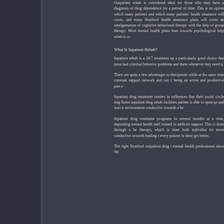Outpatient rehab is considered ideal for those who may have a diagnosis of drug dependence for a period of time. This is an option which many patients and which many patients' health insurance will cover, and many Stratford health insurance plans will cover an amalgamation of cognitive behavioral therapy with the help of group therapy. Most mental health plans lean towards psychological help when it comes to treatment.
What Is Inpatient Rehab?
Inpatient rehab is a 24/7 treatment option and can be a particularly good choice that must for people who have had criminal behavior problems and need support around them whenever they need it.
There are quite a few advantages to this – it's therapeutic while at the same time providing a constant support network and can contribute towards being an active and productive part of society.
Inpatient drug treatment centers in remove negative influences that their social circle might be providing. Some inpatient drug rehab facilities help ensure the patient is able to open up and start treatment in an environment conductive towards a healing process.
Inpatient drug treatment programs in can last for several months at a time, depending, and has full mental health staff trained in addiction therapy and support. This is done through a healthy routine therapy, which is done both individually and as a lot more conductive towards healing the end goal for every patient in there get better.
The right Stratford outpatient drug treatment mental health professional since the